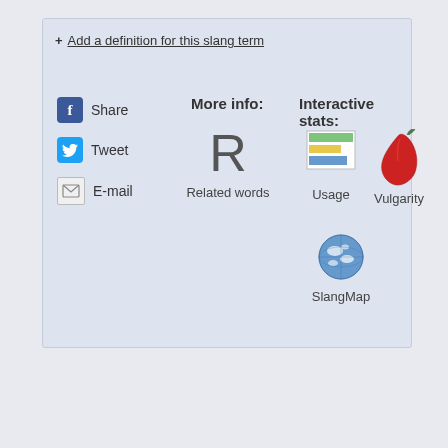+ Add a definition for this slang term
Share
Tweet
E-mail
More info:
R Related words
Interactive stats:
Usage
Vulgarity
SlangMap